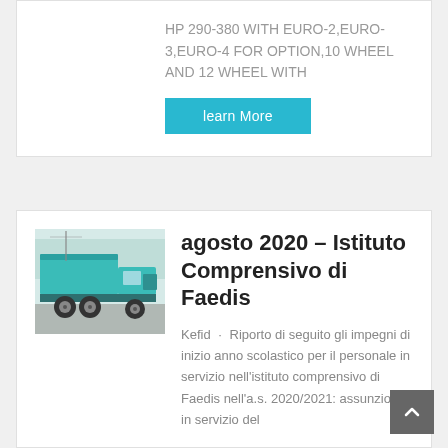HP 290-380 WITH EURO-2,EURO-3,EURO-4 FOR OPTION,10 WHEEL AND 12 WHEEL WITH
learn More
[Figure (photo): A teal/turquoise dump truck photographed from the rear-left side on a road with trees in background]
agosto 2020 – Istituto Comprensivo di Faedis
Kefid · Riporto di seguito gli impegni di inizio anno scolastico per il personale in servizio nell'istituto comprensivo di Faedis nell'a.s. 2020/2021: assunzione in servizio del